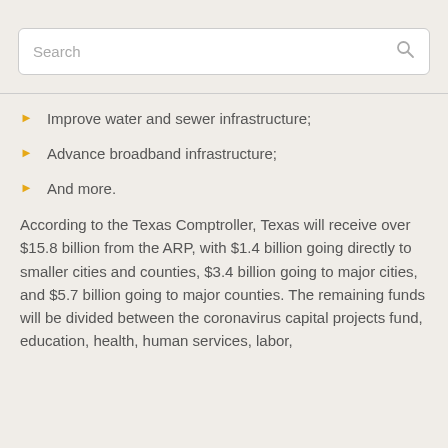Improve water and sewer infrastructure;
Advance broadband infrastructure;
And more.
According to the Texas Comptroller, Texas will receive over $15.8 billion from the ARP, with $1.4 billion going directly to smaller cities and counties, $3.4 billion going to major cities, and $5.7 billion going to major counties. The remaining funds will be divided between the coronavirus capital projects fund, education, health, human services, labor,